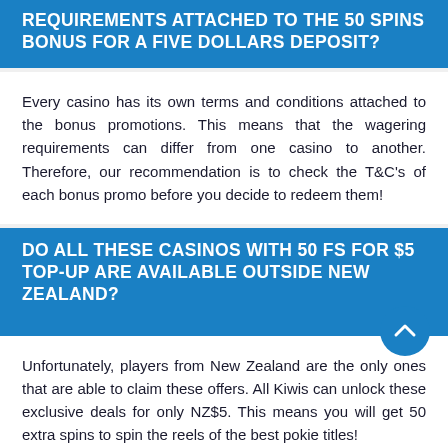REQUIREMENTS ATTACHED TO THE 50 SPINS BONUS FOR A FIVE DOLLARS DEPOSIT?
Every casino has its own terms and conditions attached to the bonus promotions. This means that the wagering requirements can differ from one casino to another. Therefore, our recommendation is to check the T&C's of each bonus promo before you decide to redeem them!
DO ALL THESE CASINOS WITH 50 FS FOR $5 TOP-UP ARE AVAILABLE OUTSIDE NEW ZEALAND?
Unfortunately, players from New Zealand are the only ones that are able to claim these offers. All Kiwis can unlock these exclusive deals for only NZ$5. This means you will get 50 extra spins to spin the reels of the best pokie titles!